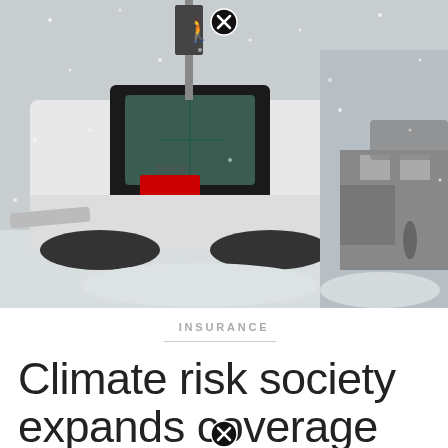[Figure (photo): A Bobcat snow plow clearing a snow-covered street during a heavy snowstorm. A pedestrian crossing signal is visible in the background. The scene is a city street with blizzard conditions.]
INSURANCE
Climate risk society expands coverage with snowfall